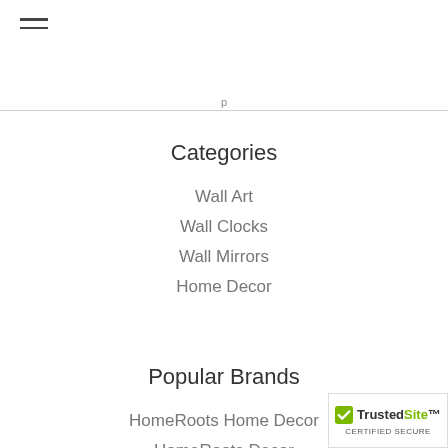Categories
Wall Art
Wall Clocks
Wall Mirrors
Home Decor
Popular Brands
HomeRoots Home Decor
HomeRoots Decor
Gallery Of Light
Accent Plus
Homeroots Bed &amp; Bath
HomeRoots Bathroom
HomeRoots Office
HomeRoots Organization